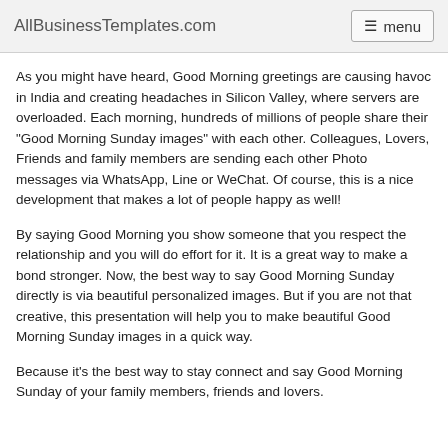AllBusinessTemplates.com  menu
As you might have heard, Good Morning greetings are causing havoc in India and creating headaches in Silicon Valley, where servers are overloaded. Each morning, hundreds of millions of people share their "Good Morning Sunday images" with each other. Colleagues, Lovers, Friends and family members are sending each other Photo messages via WhatsApp, Line or WeChat. Of course, this is a nice development that makes a lot of people happy as well!
By saying Good Morning you show someone that you respect the relationship and you will do effort for it. It is a great way to make a bond stronger. Now, the best way to say Good Morning Sunday directly is via beautiful personalized images. But if you are not that creative, this presentation will help you to make beautiful Good Morning Sunday images in a quick way.
Because it’s the best way to stay connect and say Good Morning Sunday of your family members, friends and lovers.